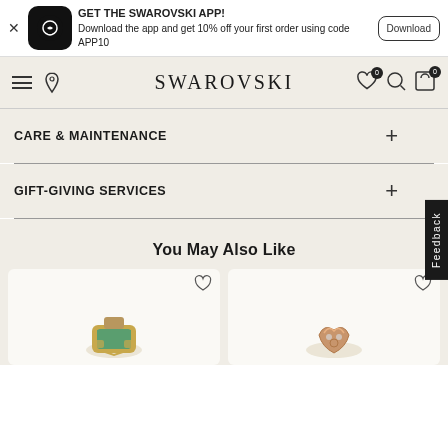[Figure (screenshot): Swarovski app download banner with app icon, promotional text, and Download button]
[Figure (screenshot): Swarovski website navigation bar with hamburger menu, location pin, Swarovski logo, heart/wishlist, search, and cart icons]
CARE & MAINTENANCE
GIFT-GIVING SERVICES
You May Also Like
[Figure (photo): Product card showing a green crystal ring with heart icon]
[Figure (photo): Product card showing a rose gold twisted ring with heart icon]